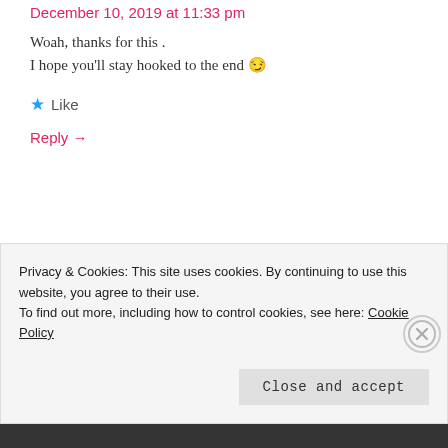December 10, 2019 at 11:33 pm
Woah, thanks for this .
I hope you'll stay hooked to the end 😊
★ Like
Reply →
ITSMORDECAI_
December 11, 2019 at 7:50 am
This far you have proved one can get
Privacy & Cookies: This site uses cookies. By continuing to use this website, you agree to their use.
To find out more, including how to control cookies, see here: Cookie Policy
Close and accept